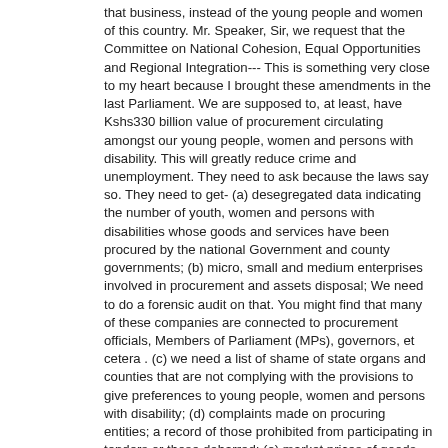that business, instead of the young people and women of this country. Mr. Speaker, Sir, we request that the Committee on National Cohesion, Equal Opportunities and Regional Integration--- This is something very close to my heart because I brought these amendments in the last Parliament. We are supposed to, at least, have Kshs330 billion value of procurement circulating amongst our young people, women and persons with disability. This will greatly reduce crime and unemployment. They need to ask because the laws say so. They need to get- (a) desegregated data indicating the number of youth, women and persons with disabilities whose goods and services have been procured by the national Government and county governments; (b) micro, small and medium enterprises involved in procurement and assets disposal; We need to do a forensic audit on that. You might find that many of these companies are connected to procurement officials, Members of Parliament (MPs), governors, et cetera . (c) we need a list of shame of state organs and counties that are not complying with the provisions to give preferences to young people, women and persons with disability; (d) complaints made on procuring entities; a record of those prohibited from participating in tenders or those debarred; (e) market prices of goods and services and works procured; (d) compliance with mandatory requirements within the law;